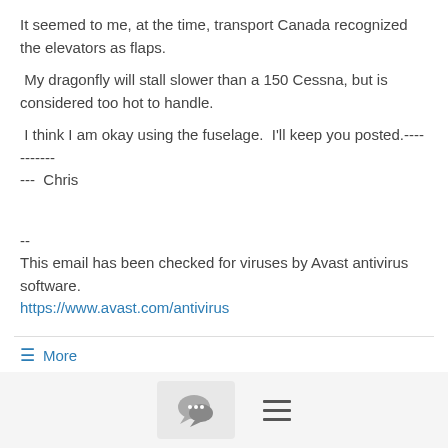It seemed to me, at the time, transport Canada recognized the elevators as flaps.
My dragonfly will stall slower than a 150 Cessna, but is considered too hot to handle.
I think I am okay using the fuselage.  I'll keep you posted.--------------   Chris
--
This email has been checked for viruses by Avast antivirus software.
https://www.avast.com/antivirus
≡ More
Frankenbird Vern  9/29/21